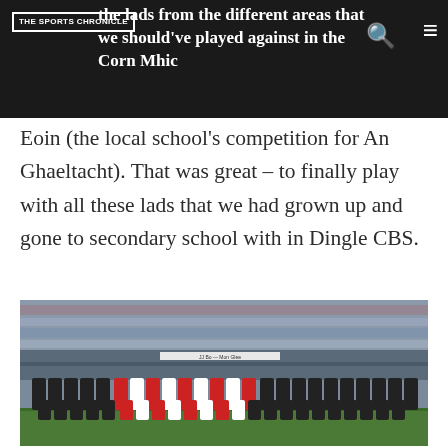the lads from the different areas that we ... should've played against in the Corn Mhic Eoin (the local school's competition for An Ghaeltacht). That was great – to finally play with all these lads that we had grown up and gone to secondary school with in Dingle CBS.
Eoin (the local school's competition for An Ghaeltacht). That was great – to finally play with all these lads that we had grown up and gone to secondary school with in Dingle CBS.
[Figure (photo): A Gaelic football team posed in two rows (back row standing, front row kneeling) on a pitch in a large stadium with a full crowd in the stands. Players wear black and red/white jerseys.]